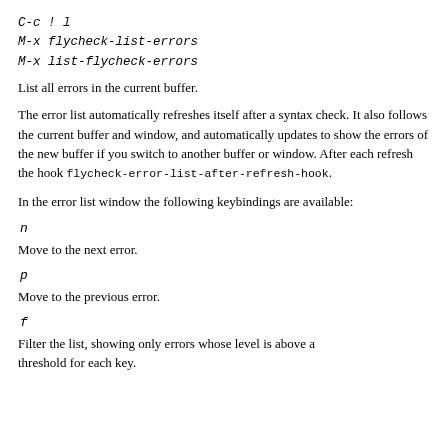C-c ! l
M-x flycheck-list-errors
M-x list-flycheck-errors
List all errors in the current buffer.
The error list automatically refreshes itself after a syntax check. It also follows the current buffer and window, and automatically updates to show the errors of the new buffer if you switch to another buffer or window. After each refresh the hook flycheck-error-list-after-refresh-hook.
In the error list window the following keybindings are available:
n
Move to the next error.
p
Move to the previous error.
f
Filter the list, showing only errors whose level is above a threshold for each key.